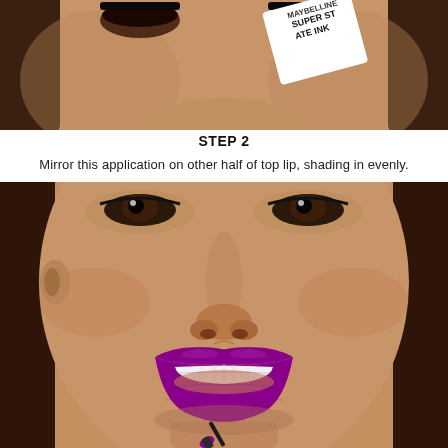[Figure (photo): Close-up of a woman's face from forehead to chin, holding a Super Stay Matte Ink lipstick product near her lips. The lips are painted vivid purple/magenta. A lip applicator brush is visible at the bottom.]
STEP 2
Mirror this application on other half of top lip, shading in evenly.
[Figure (photo): Close-up of a woman's lower face showing vivid purple/magenta matte lips. She is smiling slightly, revealing white teeth. A lip gloss applicator wand is positioned at the bottom of her lower lip. She has long dark hair and warm skin tone.]